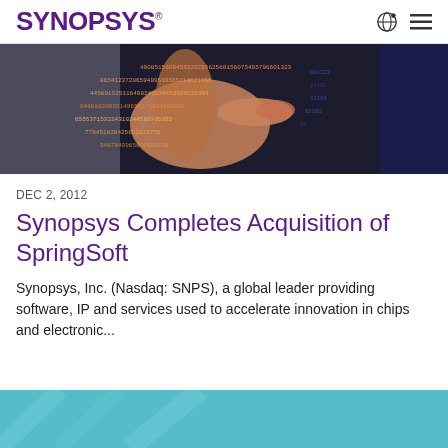SYNOPSYS
[Figure (photo): A person's hand pointing at a dark screen filled with glowing orange and white numerical data/code]
DEC 2, 2012
Synopsys Completes Acquisition of SpringSoft
Synopsys, Inc. (Nasdaq: SNPS), a global leader providing software, IP and services used to accelerate innovation in chips and electronic...
[Figure (photo): Bottom partial image, appears to show a teal/blue technical background]